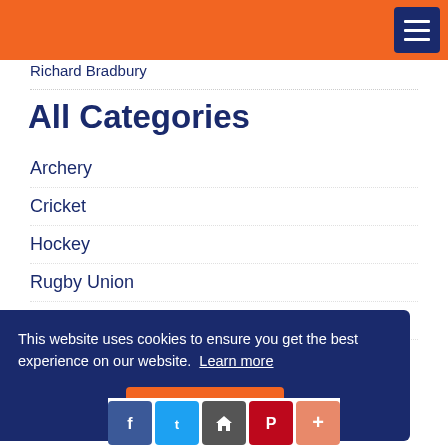Richard Bradbury
All Categories
Archery
Cricket
Hockey
Rugby Union
Squash
Tennis
This website uses cookies to ensure you get the best experience on our website. Learn more
Got it!